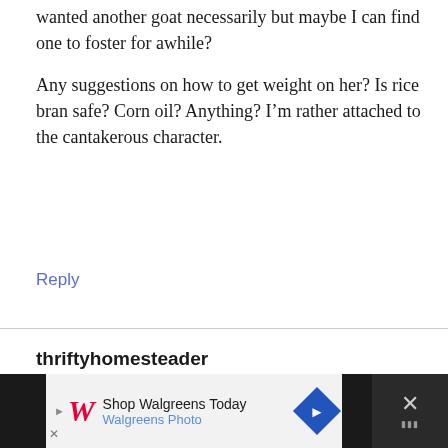wanted another goat necessarily but maybe I can find one to foster for awhile?

Any suggestions on how to get weight on her? Is rice bran safe? Corn oil? Anything? I'm rather attached to the cantakerous character.
Reply
thriftyhomesteader
April 29, 2020 at 5:40 pm
[Figure (other): Walgreens advertisement banner: 'Shop Walgreens Today / Walgreens Photo' with Walgreens logo, navigation arrow icon, and a close button]